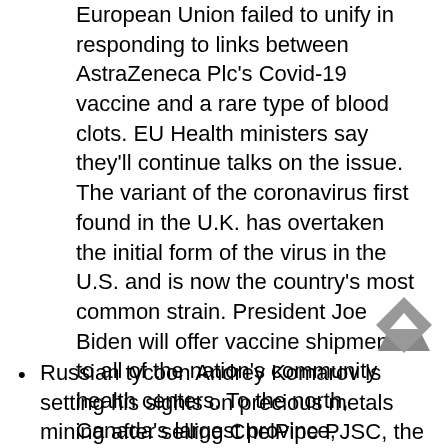European Union failed to unify in responding to links between AstraZeneca Plc's Covid-19 vaccine and a rare type of blood clots. EU Health ministers say they'll continue talks on the issue. The variant of the coronavirus first found in the U.K. has overtaken the initial form of the virus in the U.S. and is now the country's most common strain. President Joe Biden will offer vaccine shipments to all of the nation's community health centers. To the north, Canada's largest province, Ontario, declared a state of emergency.
Russian tycoon Andrey Komarov is setting his sights on precious metals mining after selling ChelPipe PJSC, the pipe maker that made him a billionaire. Komarov is talks to purchase the Kumroch gold deposit in Russia's Far East from Zoloto Kamchatki,